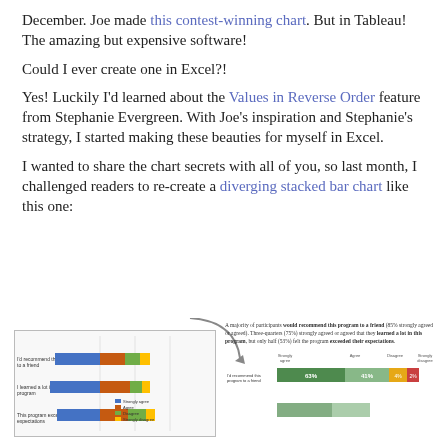December. Joe made this contest-winning chart. But in Tableau! The amazing but expensive software!
Could I ever create one in Excel?!
Yes! Luckily I'd learned about the Values in Reverse Order feature from Stephanie Evergreen. With Joe's inspiration and Stephanie's strategy, I started making these beauties for myself in Excel.
I wanted to share the chart secrets with all of you, so last month, I challenged readers to recreate a diverging stacked bar chart like this one:
[Figure (infographic): A diverging stacked bar chart example showing survey responses with arrow pointing to detailed version. Left thumbnail shows three horizontal bars with colored segments (blue, red, green). Right side shows detailed chart with caption and bar rows including 'I'd recommend this program to a friend' category with strongly agree/agree/disagree/strongly disagree columns.]